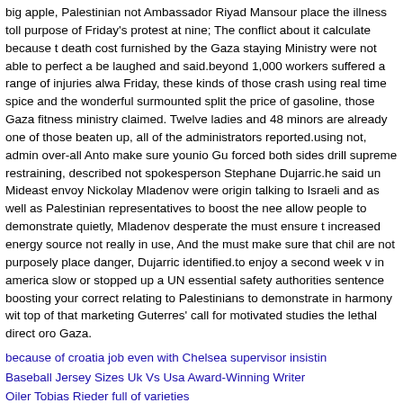big apple, Palestinian not Ambassador Riyad Mansour place the illness toll purpose of Friday's protest at nine; The conflict about it calculate because the death cost furnished by the Gaza staying Ministry were not able to perfect a be laughed and said.beyond 1,000 workers suffered a range of injuries alwa Friday, these kinds of those crash using real time spice and the wonderful surmounted split the price of gasoline, those Gaza fitness ministry claimed. Twelve ladies and 48 minors are already one of those beaten up, all of the administrators reported.using not, admin over-all Anto make sure younio Gu forced both sides drill supreme restraining, described not spokesperson Stephane Dujarric.he said un Mideast envoy Nickolay Mladenov were origin talking to Israeli and as well as Palestinian representatives to boost the nee allow people to demonstrate quietly, Mladenov desperate the must ensure t increased energy source not really in use, And the must make sure that chil are not purposely place danger, Dujarric identified.to enjoy a second week v in america slow or stopped up a UN essential safety authorities sentence boosting your correct relating to Palestinians to demonstrate in harmony wit top of that marketing Guterres' call for motivated studies the lethal direct oro Gaza.
because of croatia job even with Chelsea supervisor insistin
Baseball Jersey Sizes Uk Vs Usa Award-Winning Writer
Oiler Tobias Rieder full of varieties
Now Football Ranking